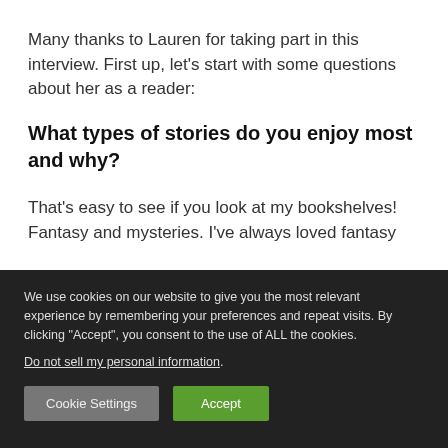Many thanks to Lauren for taking part in this interview. First up, let’s start with some questions about her as a reader:
What types of stories do you enjoy most and why?
That’s easy to see if you look at my bookshelves! Fantasy and mysteries. I’ve always loved fantasy
We use cookies on our website to give you the most relevant experience by remembering your preferences and repeat visits. By clicking “Accept”, you consent to the use of ALL the cookies. Do not sell my personal information.
Cookie Settings
Accept